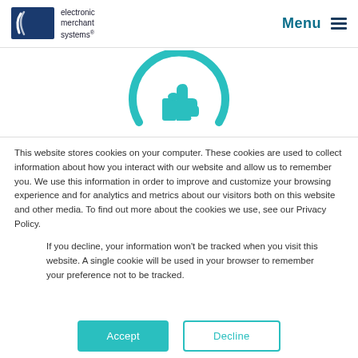electronic merchant systems | Menu
[Figure (illustration): Teal thumbs-up icon inside a teal circle arc, centered on white background]
This website stores cookies on your computer. These cookies are used to collect information about how you interact with our website and allow us to remember you. We use this information in order to improve and customize your browsing experience and for analytics and metrics about our visitors both on this website and other media. To find out more about the cookies we use, see our Privacy Policy.
If you decline, your information won't be tracked when you visit this website. A single cookie will be used in your browser to remember your preference not to be tracked.
Accept | Decline